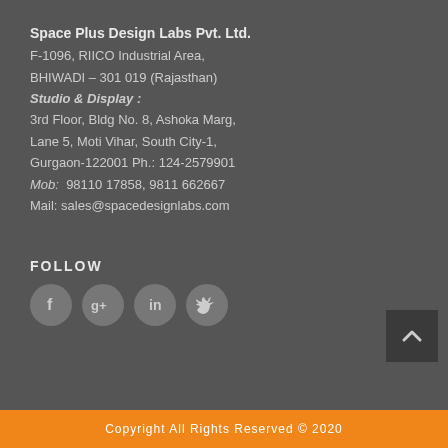Space Plus Design Labs Pvt. Ltd.
F-1096, RIICO Industrial Area,
BHIWADI – 301 019 (Rajasthan)
Studio & Display :
3rd Floor, Bldg No. 8, Ashoka Marg,
Lane 5, Moti Vihar, South City-1,
Gurgaon-122001 Ph.: 124-2579901
Mob:  98110 17858, 9811 662667
Mail: sales@spacedesignlabs.com
FOLLOW
[Figure (illustration): Four social media icon circles: Facebook (f), Google+ (g+), LinkedIn (in), Twitter (bird icon)]
Copyright All Rights Reserved © 2020